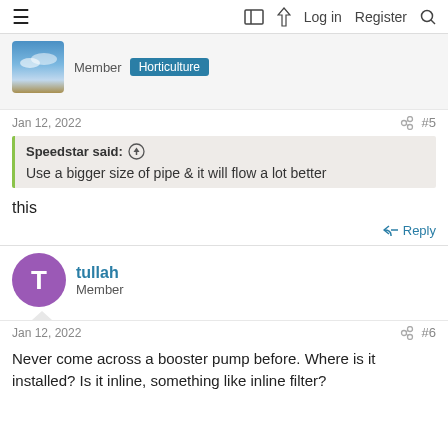≡  🔲  ⚡  Log in  Register  🔍
Member  Horticulture
Jan 12, 2022  #5
Speedstar said: ↑
Use a bigger size of pipe & it will flow a lot better
this
Reply
tullah
Member
Jan 12, 2022  #6
Never come across a booster pump before. Where is it installed? Is it inline, something like inline filter?